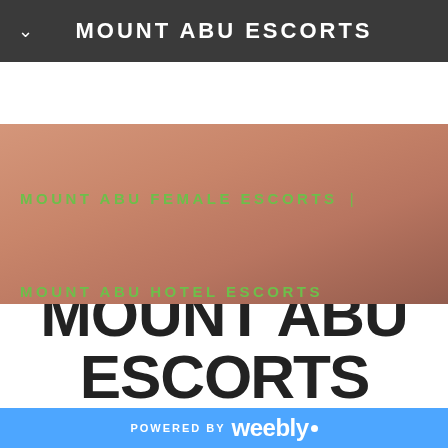MOUNT ABU ESCORTS
[Figure (photo): Blurred close-up skin tone background serving as hero image with navigation links overlaid]
MOUNT ABU FEMALE ESCORTS |
MOUNT ABU HOTEL ESCORTS
WELCOME TO MOUNT ABU ESCORTS
POWERED BY weebly